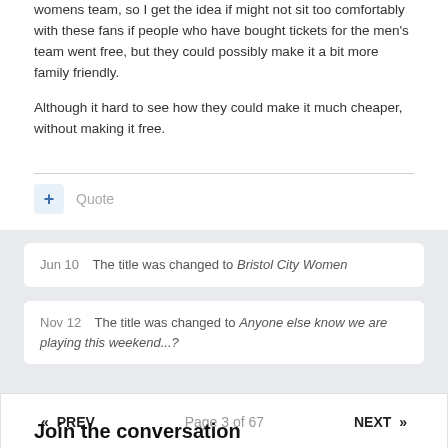womens team, so I get the idea if might not sit too comfortably with these fans if people who have bought tickets for the men's team went free, but they could possibly make it a bit more family friendly.
Although it hard to see how they could make it much cheaper, without making it free.
Quote
Jun 10   The title was changed to Bristol City Women
Nov 12   The title was changed to Anyone else know we are playing this weekend...?
« PREV   Page 3 of 67   NEXT »
Join the conversation